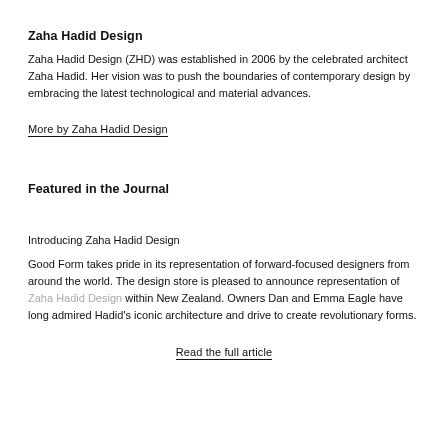Zaha Hadid Design
Zaha Hadid Design (ZHD) was established in 2006 by the celebrated architect Zaha Hadid. Her vision was to push the boundaries of contemporary design by embracing the latest technological and material advances.
More by Zaha Hadid Design
Featured in the Journal
Introducing Zaha Hadid Design
Good Form takes pride in its representation of forward-focused designers from around the world. The design store is pleased to announce representation of Zaha Hadid Design within New Zealand. Owners Dan and Emma Eagle have long admired Hadid's iconic architecture and drive to create revolutionary forms.
Read the full article